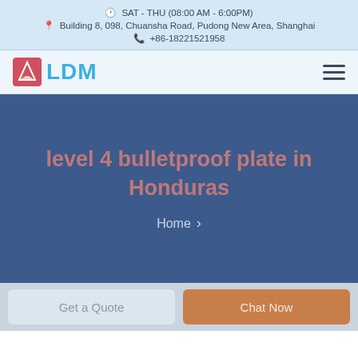SAT - THU (08:00 AM - 6:00PM)
Building 8, 098, Chuansha Road, Pudong New Area, Shanghai
+86-18221521958
[Figure (logo): LDM company logo with sailboat icon in pink/red square and blue LDM text, plus hamburger menu icon]
level 4 bulletproof plate in Honduras
Home >
Get a Quote   Chat Now